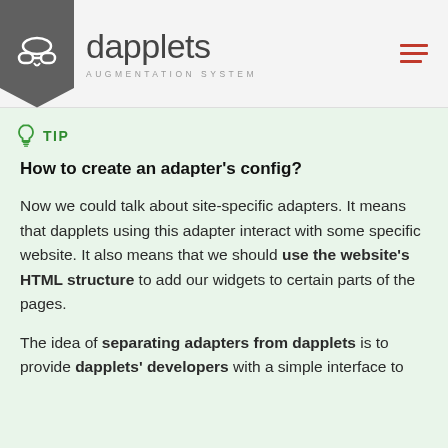dapplets AUGMENTATION SYSTEM
TIP
How to create an adapter's config?
Now we could talk about site-specific adapters. It means that dapplets using this adapter interact with some specific website. It also means that we should use the website's HTML structure to add our widgets to certain parts of the pages.
The idea of separating adapters from dapplets is to provide dapplets' developers with a simple interface to